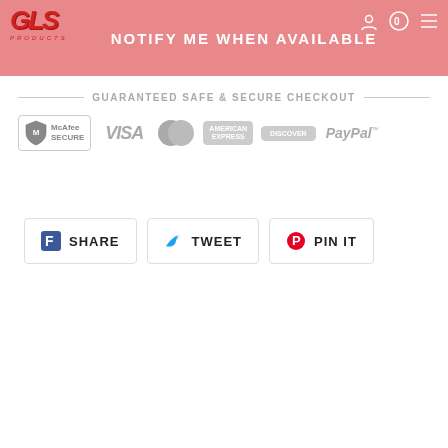NOTIFY ME WHEN AVAILABLE
[Figure (infographic): Guaranteed Safe & Secure Checkout banner with payment icons: McAfee Secure, VISA, MasterCard, American Express, Discover, PayPal]
[Figure (infographic): Social share buttons: Facebook SHARE, Twitter TWEET, Pinterest PIN IT]